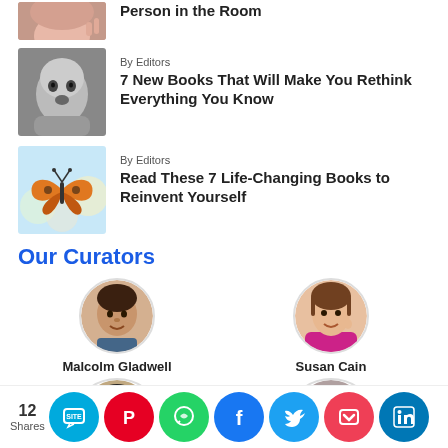[Figure (photo): Partial view of a woman's face (top cropped)]
Person in the Room
[Figure (photo): Black and white photo of a young child looking surprised]
By Editors
7 New Books That Will Make You Rethink Everything You Know
[Figure (photo): Macro photo of a butterfly on flowers]
By Editors
Read These 7 Life-Changing Books to Reinvent Yourself
Our Curators
[Figure (photo): Portrait of Malcolm Gladwell]
Malcolm Gladwell
[Figure (photo): Portrait of Susan Cain]
Susan Cain
[Figure (photo): Partial portrait of a man with glasses]
[Figure (photo): Partial portrait of a bald man]
12 Shares
[Figure (infographic): Social sharing icons: SMS, Pinterest, WhatsApp, Facebook, Twitter, Pocket, LinkedIn]